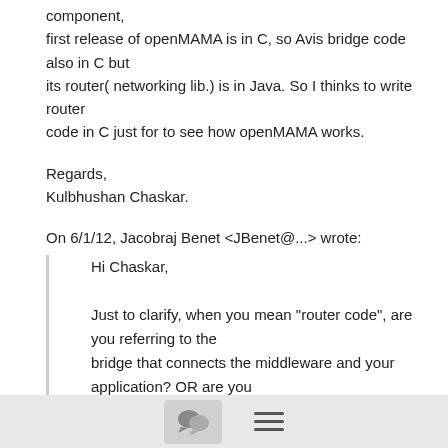component, first release of openMAMA is in C, so Avis bridge code also in C but its router( networking lib.) is in Java. So I thinks to write router code in C just for to see how openMAMA works.
Regards,
Kulbhushan Chaskar.
On 6/1/12, Jacobraj Benet <JBenet@...> wrote:
Hi Chaskar,

Just to clarify, when you mean "router code", are you referring to the bridge that connects the middleware and your application? OR are you referring to the code in the middleware component?